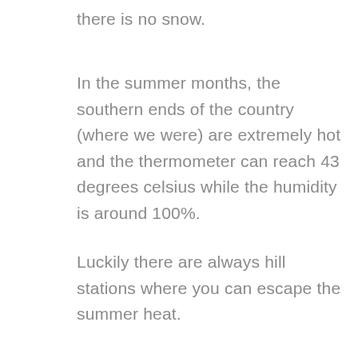there is no snow.
In the summer months, the southern ends of the country (where we were) are extremely hot and the thermometer can reach 43 degrees celsius while the humidity is around 100%.
Luckily there are always hill stations where you can escape the summer heat.